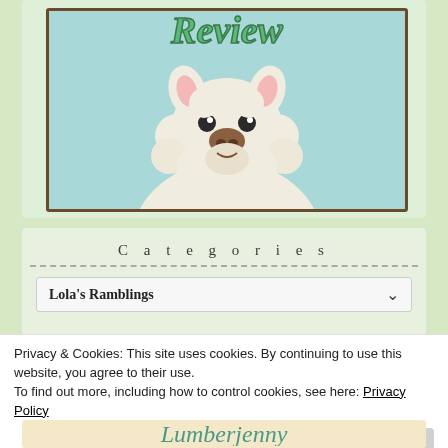[Figure (illustration): Cartoon llama with white fluffy body, pink ears, brown nose, and a green cursive 'Review' text logo at the top, set against a light teal background inside a brown-bordered frame. This appears to be a blog logo.]
Categories
Lola's Ramblings
Privacy & Cookies: This site uses cookies. By continuing to use this website, you agree to their use.
To find out more, including how to control cookies, see here: Privacy Policy
Close and accept
[Figure (illustration): Partial view of a decorative script/cursive text on a beige background, appears to be part of another blog logo or banner.]